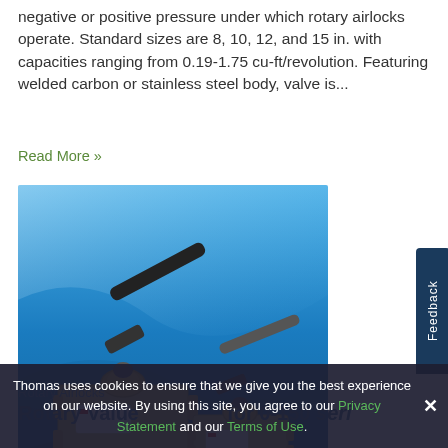negative or positive pressure under which rotary airlocks operate. Standard sizes are 8, 10, 12, and 15 in. with capacities ranging from 0.19-1.75 cu-ft/revolution. Featuring welded carbon or stainless steel body, valve is...
Read More »
[Figure (photo): Product photo showing two rotary airlock valve units with lever handles on a blue wave background.]
Rotary Airlocks
Rotary Val... for 0-150 series
Thomas uses cookies to ensure that we give you the best experience on our website. By using this site, you agree to our Privacy Statement and our Terms of Use.